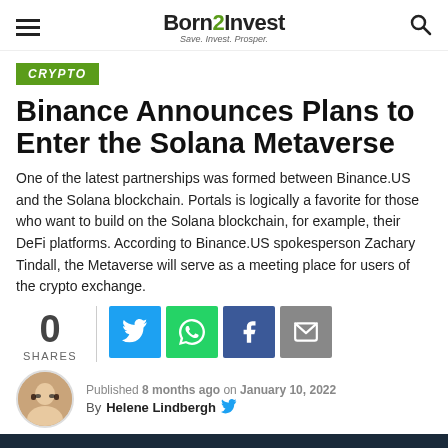Born2Invest — Save. Invest. Prosper.
CRYPTO
Binance Announces Plans to Enter the Solana Metaverse
One of the latest partnerships was formed between Binance.US and the Solana blockchain. Portals is logically a favorite for those who want to build on the Solana blockchain, for example, their DeFi platforms. According to Binance.US spokesperson Zachary Tindall, the Metaverse will serve as a meeting place for users of the crypto exchange.
0 SHARES
Published 8 months ago on January 10, 2022
By Helene Lindbergh